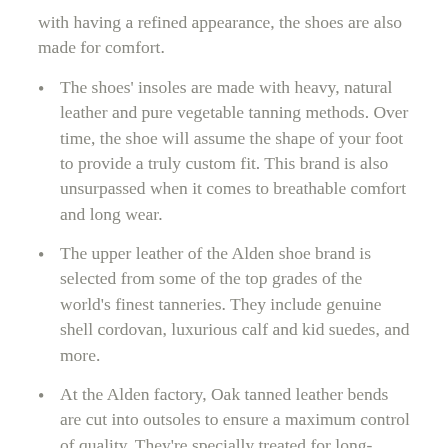with having a refined appearance, the shoes are also made for comfort.
The shoes' insoles are made with heavy, natural leather and pure vegetable tanning methods. Over time, the shoe will assume the shape of your foot to provide a truly custom fit. This brand is also unsurpassed when it comes to breathable comfort and long wear.
The upper leather of the Alden shoe brand is selected from some of the top grades of the world's finest tanneries. They include genuine shell cordovan, luxurious calf and kid suedes, and more.
At the Alden factory, Oak tanned leather bends are cut into outsoles to ensure a maximum control of quality. They're specially treated for long-lasting and durable wear and then they're polished to a fine luster using carnauba waxes.
Each and every shoe has a full leather lining that's chosen from a unique supply of smooth, glazed kip